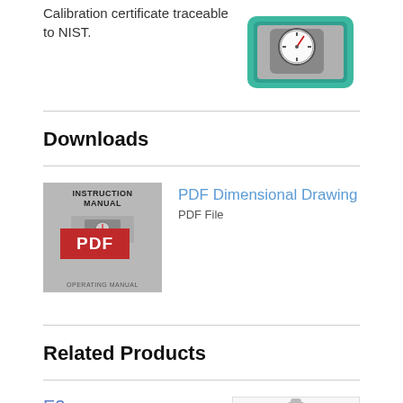Calibration certificate traceable to NIST.
[Figure (photo): Hardness tester gauge in green carrying case]
Downloads
[Figure (photo): PDF icon showing instruction manual with red PDF badge]
PDF Dimensional Drawing
PDF File
Related Products
E2
Durometer / Hardness Tester
- Lightweight, durable, recyclable, magnesium-alloy case
[Figure (photo): Blue durometer / hardness tester device]